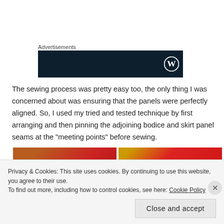Advertisements
[Figure (other): Dark navy advertisement banner with WordPress logo on the right]
The sewing process was pretty easy too, the only thing I was concerned about was ensuring that the panels were perfectly aligned. So, I used my tried and tested technique by first arranging and then pinning the adjoining bodice and skirt panel seams at the "meeting points" before sewing.
[Figure (photo): Two side-by-side photos showing red fabric panels and stitching details]
Privacy & Cookies: This site uses cookies. By continuing to use this website, you agree to their use.
To find out more, including how to control cookies, see here: Cookie Policy
Close and accept